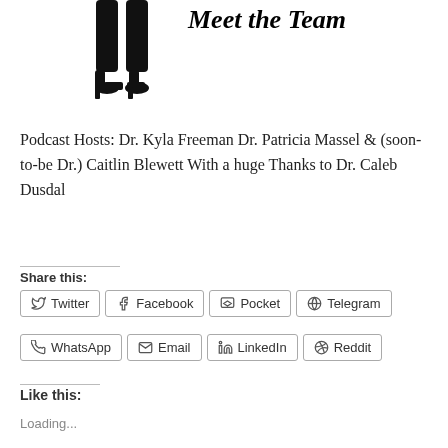[Figure (illustration): Black silhouette of a person's lower body (legs and high heels) against white background]
Meet the Team
Podcast Hosts: Dr. Kyla Freeman Dr. Patricia Massel & (soon-to-be Dr.) Caitlin Blewett With a huge Thanks to Dr. Caleb Dusdal
Share this:
Twitter
Facebook
Pocket
Telegram
WhatsApp
Email
LinkedIn
Reddit
Like this:
Loading...